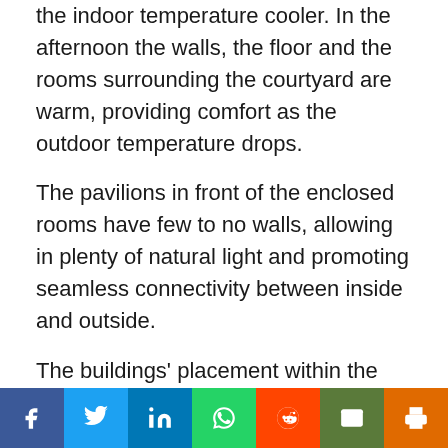the indoor temperature cooler. In the afternoon the walls, the floor and the rooms surrounding the courtyard are warm, providing comfort as the outdoor temperature drops.
The pavilions in front of the enclosed rooms have few to no walls, allowing in plenty of natural light and promoting seamless connectivity between inside and outside.
The buildings' placement within the compound allows space between them for gardens. These views of greenery improve mental health through visual connections to
[Figure (infographic): Social media sharing bar with buttons: Facebook, Twitter, LinkedIn, WhatsApp, Reddit, Email, Print]